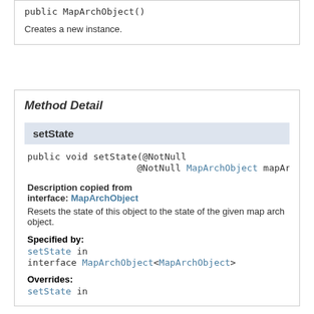public MapArchObject()
Creates a new instance.
Method Detail
setState
public void setState(@NotNull
                    @NotNull MapArchObject mapAr
Description copied from interface: MapArchObject
Resets the state of this object to the state of the given map arch object.
Specified by:
setState in interface MapArchObject<MapArchObject>
Overrides:
setState in